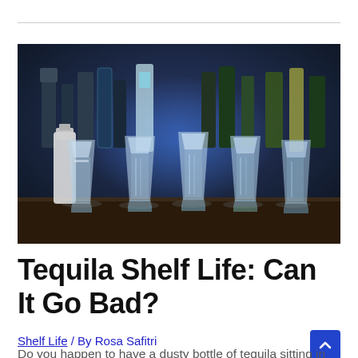[Figure (photo): Five shot glasses filled with tequila lined up on a dark bar counter, with bottles of liquor in the background illuminated by blue lighting.]
Tequila Shelf Life: Can It Go Bad?
Shelf Life / By Rosa Safitri
Do you happen to have a dusty bottle of tequila sitting in